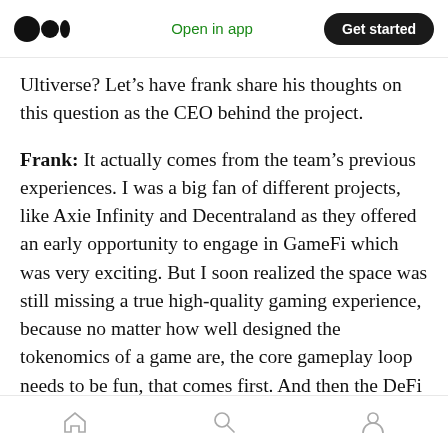Open in app | Get started
Ultiverse? Let’s have frank share his thoughts on this question as the CEO behind the project.
Frank: It actually comes from the team’s previous experiences. I was a big fan of different projects, like Axie Infinity and Decentraland as they offered an early opportunity to engage in GameFi which was very exciting. But I soon realized the space was still missing a true high-quality gaming experience, because no matter how well designed the tokenomics of a game are, the core gameplay loop needs to be fun, that comes first. And then the DeFi elements and rewards are an
Home | Search | Profile